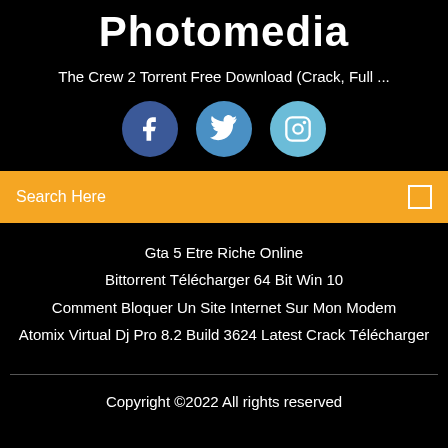Photomedia
The Crew 2 Torrent Free Download (Crack, Full ...
[Figure (illustration): Three social media icon circles: Facebook (dark blue), Twitter (medium blue), Instagram (light blue)]
Search Here
Gta 5 Etre Riche Online
Bittorrent Télécharger 64 Bit Win 10
Comment Bloquer Un Site Internet Sur Mon Modem
Atomix Virtual Dj Pro 8.2 Build 3624 Latest Crack Télécharger
Copyright ©2022 All rights reserved